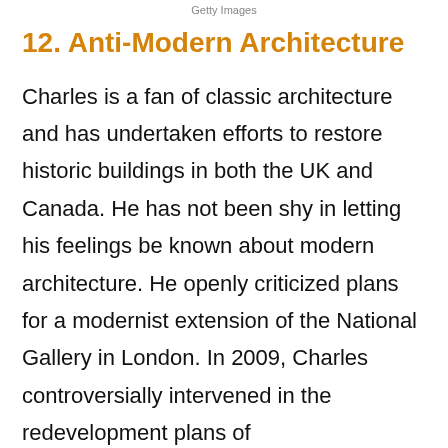Getty Images
12. Anti-Modern Architecture
Charles is a fan of classic architecture and has undertaken efforts to restore historic buildings in both the UK and Canada. He has not been shy in letting his feelings be known about modern architecture. He openly criticized plans for a modernist extension of the National Gallery in London. In 2009, Charles controversially intervened in the redevelopment plans of